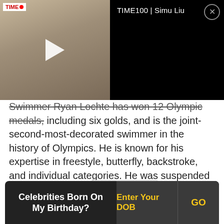[Figure (screenshot): Video overlay showing a man in a light suit with a play button, next to a dark panel with text 'TIME100 | Simu Liu' and a close button, on a black background]
Swimmer Ryan Lochte has won 12 Olympic medals, including six golds, and is the joint-second-most-decorated swimmer in the history of Olympics. He is known for his expertise in freestyle, butterfly, backstroke, and individual categories. He was suspended for vandalism while in Brazil for the 2016 Summer Olympics.
Recommended Lists: United States
Celebrities Born On My Birthday? Enter Your DOB GO